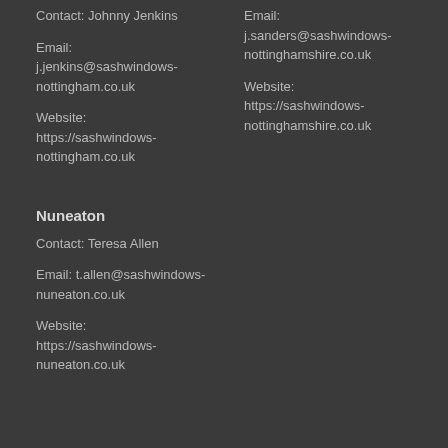Contact: Johnny Jenkins
Email:
j.jenkins@sashwindows-nottingham.co.uk
Website:
https://sashwindows-nottingham.co.uk
Email:
j.sanders@sashwindows-nottinghamshire.co.uk
Website:
https://sashwindows-nottinghamshire.co.uk
Nuneaton
Contact: Teresa Allen
Email: t.allen@sashwindows-nuneaton.co.uk
Website:
https://sashwindows-nuneaton.co.uk